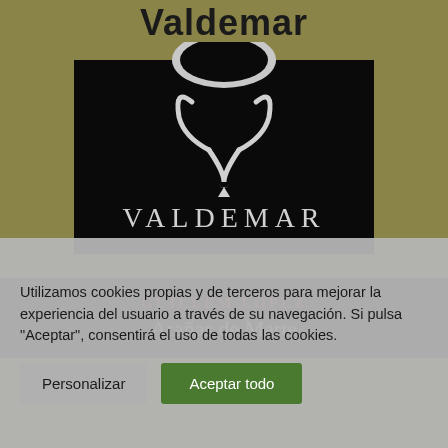Valdemar
[Figure (logo): Valdemar publisher logo: black t-shirt shaped background with a stylized white goat/V symbol above the text VALDEMAR in white serif letters]
[Figure (illustration): Book cover section showing author name 'GUILLEM LOPEZ' in red uppercase letters and partial book title 'Arañas de Marte' in gold/cream serif letters on dark navy background]
Utilizamos cookies propias y de terceros para mejorar la experiencia del usuario a través de su navegación. Si pulsa "Aceptar", consentirá el uso de todas las cookies.